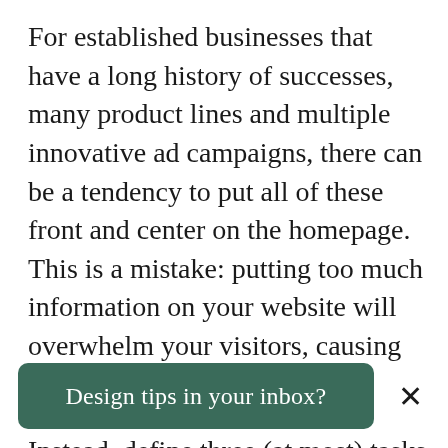For established businesses that have a long history of successes, many product lines and multiple innovative ad campaigns, there can be a tendency to put all of these front and center on the homepage. This is a mistake: putting too much information on your website will overwhelm your visitors, causing them to leave.
Instead, define three (at most) tasks that your visitors want to achieve and give each of them a separate section on your website. At this point you should be able to sketch the
Design tips in your inbox?